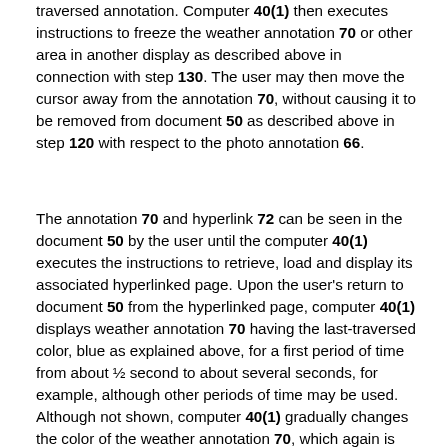traversed annotation. Computer 40(1) then executes instructions to freeze the weather annotation 70 or other area in another display as described above in connection with step 130. The user may then move the cursor away from the annotation 70, without causing it to be removed from document 50 as described above in step 120 with respect to the photo annotation 66.
The annotation 70 and hyperlink 72 can be seen in the document 50 by the user until the computer 40(1) executes the instructions to retrieve, load and display its associated hyperlinked page. Upon the user's return to document 50 from the hyperlinked page, computer 40(1) displays weather annotation 70 having the last-traversed color, blue as explained above, for a first period of time from about ½ second to about several seconds, for example, although other periods of time may be used. Although not shown, computer 40(1) gradually changes the color of the weather annotation 70, which again is blue in this example, back to the previously-visited frozen color, which is dark green (not illustrated), although again, other colors may be used. This color change occurs over a second period of time from about ½ second or less, a process hereinafter referred to